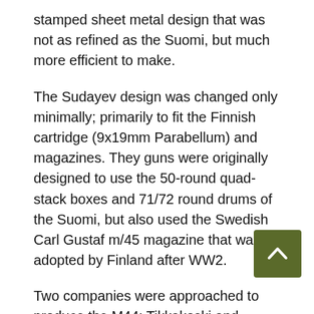stamped sheet metal design that was not as refined as the Suomi, but much more efficient to make.
The Sudayev design was changed only minimally; primarily to fit the Finnish cartridge (9x19mm Parabellum) and magazines. They guns were originally designed to use the 50-round quad-stack boxes and 71/72 round drums of the Suomi, but also used the Swedish Carl Gustaf m/45 magazine that was adopted by Finland after WW2.
Two companies were approached to produce the M44; Tikkakoski and Ammus Oy. Ammus was unable to source raw materials for the project, and only Tikka put the guns into production. Marshal Mannerheim initially wanted 50,000, but the order was reduced to 20,000 – of which only 10,000 were actually made, due to limited material availability before the end of the war led to production ending. Another 400 were assembled from remaining parts after the war.
In the 1950s, a plan was begun to resume M44 production in